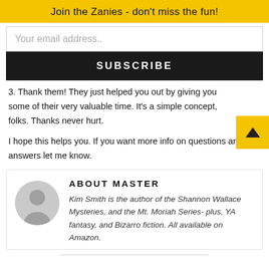Join the Zanies - don't miss the fun!
Your email address..
SUBSCRIBE
3. Thank them! They just helped you out by giving you some of their very valuable time. It's a simple concept, folks. Thanks never hurt.
I hope this helps you. If you want more info on questions and answers let me know.
ABOUT MASTER
Kim Smith is the author of the Shannon Wallace Mysteries, and the Mt. Moriah Series- plus, YA fantasy, and Bizarro fiction. All available on Amazon.